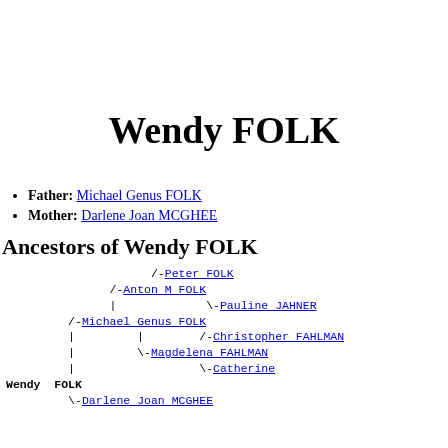Wendy FOLK
Father: Michael Genus FOLK
Mother: Darlene Joan MCGHEE
Ancestors of Wendy FOLK
[Figure (organizational-chart): Ancestors tree for Wendy FOLK showing: /-Peter FOLK, /-Anton M FOLK, | \-Pauline JAHNER, /-Michael Genus FOLK, | | /-Christopher FAHLMAN, | \-Magdelena FAHLMAN, | \-Catherine, Wendy FOLK, \-Darlene Joan MCGHEE]